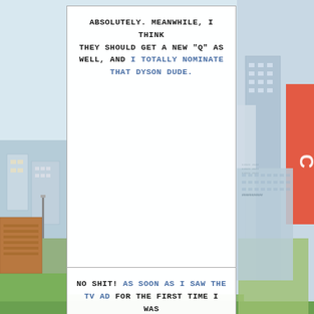[Figure (illustration): Comic book page with cityscape background. Two speech bubble panels overlaid on a city scene with buildings, a stadium or arena, and colorful urban landscape. Left side shows brick buildings and green areas. Right side shows tall buildings and a red neon sign.]
ABSOLUTELY. MEANWHILE, I THINK THEY SHOULD GET A NEW "Q" AS WELL, AND I TOTALLY NOMINATE THAT DYSON DUDE.
NO SHIT! AS SOON AS I SAW THE TV AD FOR THE FIRST TIME I WAS ALL "MUST. BUY. VACUUM. PRICE. NO. OBJECT."